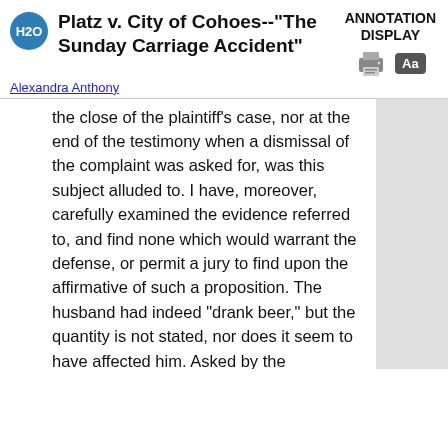Platz v. City of Cohoes--"The Sunday Carriage Accident"
Alexandra Anthony
the close of the plaintiff's case, nor at the end of the testimony when a dismissal of the complaint was asked for, was this subject alluded to. I have, moreover, carefully examined the evidence referred to, and find none which would warrant the defense, or permit a jury to find upon the affirmative of such a proposition. The husband had indeed "drank beer," but the quantity is not stated, nor does it seem to have affected him. Asked by the defendant's counsel, "had you drank any beer on that day?" answers: "Yes, sir." "Who did you drink with?"